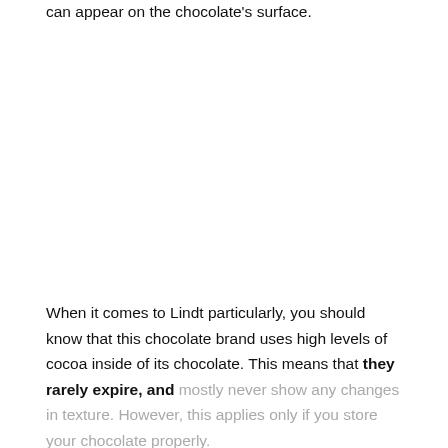can appear on the chocolate's surface.
When it comes to Lindt particularly, you should know that this chocolate brand uses high levels of cocoa inside of its chocolate. This means that they rarely expire, and mostly never show any changes in texture. However, this applies only if you store your chocolate properly.